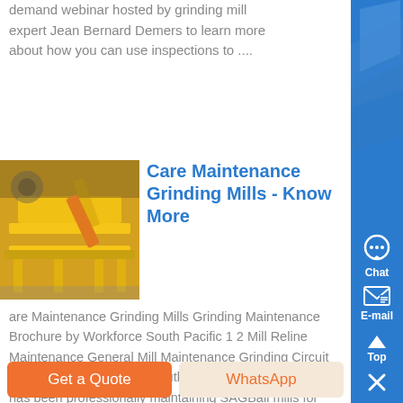demand webinar hosted by grinding mill expert Jean Bernard Demers to learn more about how you can use inspections to ....
Care Maintenance Grinding Mills - Know More
[Figure (photo): Yellow industrial grinding mill / conveyor machine in a factory setting]
are Maintenance Grinding Mills Grinding Maintenance Brochure by Workforce South Pacific 1 2 Mill Reline Maintenance General Mill Maintenance Grinding Circuit Maintenance Workforce South Pacific Limited WFSP has been professionally maintaining SAGBall mills for clients of goldcopper mining operations across Papua New Guinea Get Price...